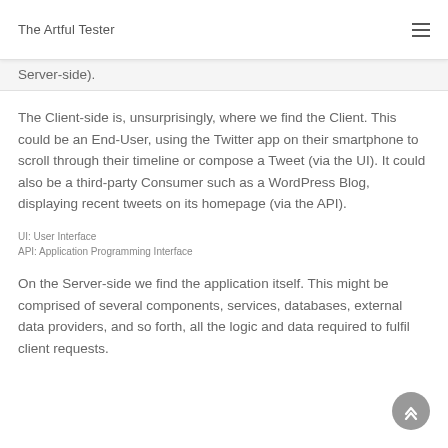The Artful Tester
Server-side).
The Client-side is, unsurprisingly, where we find the Client. This could be an End-User, using the Twitter app on their smartphone to scroll through their timeline or compose a Tweet (via the UI). It could also be a third-party Consumer such as a WordPress Blog, displaying recent tweets on its homepage (via the API).
UI: User Interface
API: Application Programming Interface
On the Server-side we find the application itself. This might be comprised of several components, services, databases, external data providers, and so forth, all the logic and data required to fulfil client requests.